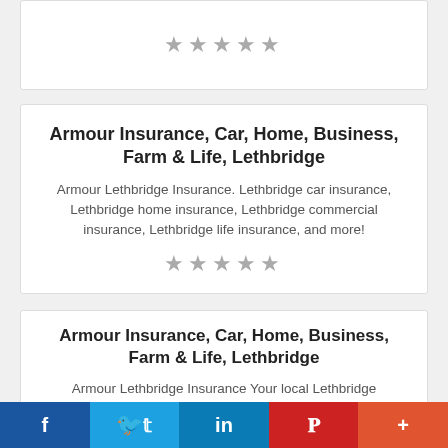[Figure (other): Five grey star rating icons in a row (partial top card visible)]
Armour Insurance, Car, Home, Business, Farm & Life, Lethbridge
Armour Lethbridge Insurance. Lethbridge car insurance, Lethbridge home insurance, Lethbridge commercial insurance, Lethbridge life insurance, and more!
[Figure (other): Five grey star rating icons in a row]
Armour Insurance, Car, Home, Business, Farm & Life, Lethbridge
Armour Lethbridge Insurance Your local Lethbridge Insurance Broker.
[Figure (other): Five grey star rating icons in a row]
f  Twitter  in  Pinterest  +